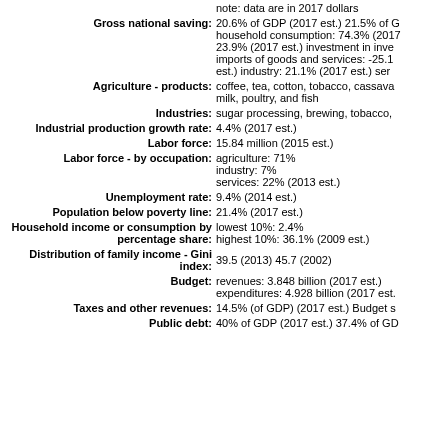note: data are in 2017 dollars
Gross national saving: 20.6% of GDP (2017 est.) 21.5% of GDP household consumption: 74.3% (2017) 23.9% (2017 est.) investment in inventories imports of goods and services: -25.1% est.) industry: 21.1% (2017 est.) serv
Agriculture - products: coffee, tea, cotton, tobacco, cassava milk, poultry, and fish
Industries: sugar processing, brewing, tobacco,
Industrial production growth rate: 4.4% (2017 est.)
Labor force: 15.84 million (2015 est.)
Labor force - by occupation: agriculture: 71% industry: 7% services: 22% (2013 est.)
Unemployment rate: 9.4% (2014 est.)
Population below poverty line: 21.4% (2017 est.)
Household income or consumption by percentage share: lowest 10%: 2.4% highest 10%: 36.1% (2009 est.)
Distribution of family income - Gini index: 39.5 (2013) 45.7 (2002)
Budget: revenues: 3.848 billion (2017 est.) expenditures: 4.928 billion (2017 est.)
Taxes and other revenues: 14.5% (of GDP) (2017 est.) Budget s
Public debt: 40% of GDP (2017 est.) 37.4% of GD